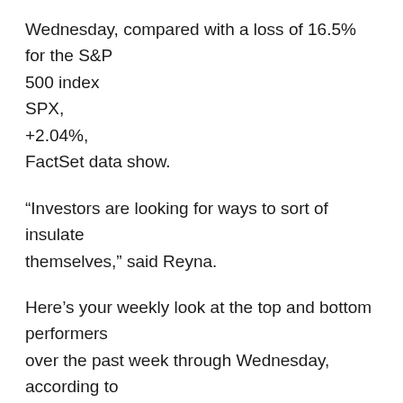Wednesday, compared with a loss of 16.5% for the S&P 500 index SPX, +2.04%, FactSet data show.
“Investors are looking for ways to sort of insulate themselves,” said Reyna.
Here’s your weekly look at the top and bottom performers over the past week through Wednesday, according to FactSet data.
The good…
Top gainers